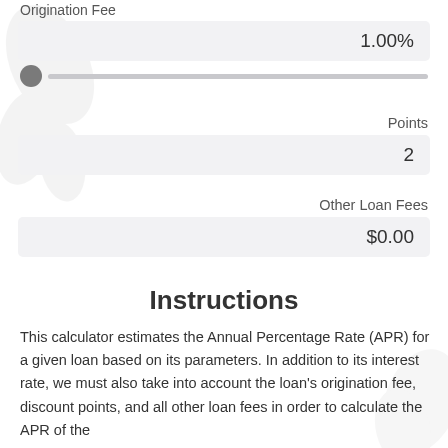Origination Fee
1.00%
[Figure (other): Slider control for origination fee with thumb at far left and track extending right]
Points
2
Other Loan Fees
$0.00
Instructions
This calculator estimates the Annual Percentage Rate (APR) for a given loan based on its parameters. In addition to its interest rate, we must also take into account the loan's origination fee, discount points, and all other loan fees in order to calculate the APR of the